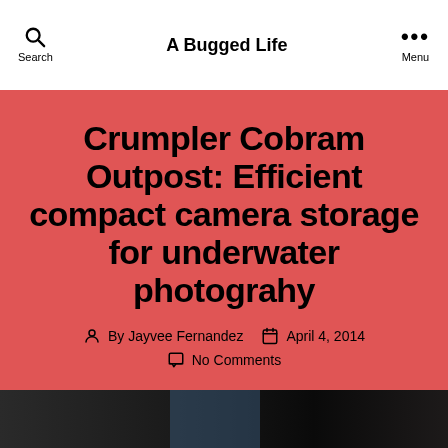A Bugged Life
Crumpler Cobram Outpost: Efficient compact camera storage for underwater photograhy
By Jayvee Fernandez  April 4, 2014  No Comments
[Figure (photo): Dark photograph strip at the bottom of the page, showing a dark scene possibly related to underwater or equipment photography]